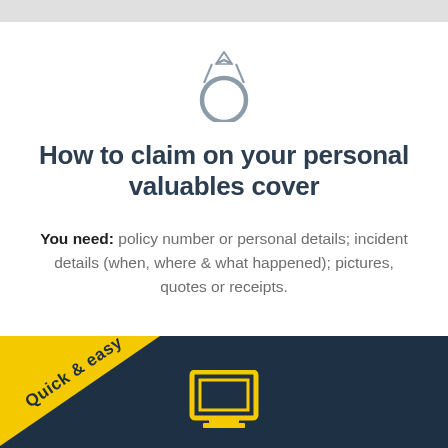[Figure (illustration): Diamond ring icon in gray outline style]
How to claim on your personal valuables cover
You need: policy number or personal details; incident details (when, where & what happened); pictures, quotes or receipts.
[Figure (infographic): Dark navy blue banner section with a yellow diagonal 'Quick & easy' ribbon in the top-left corner and a yellow laptop/monitor icon outline at the bottom center]